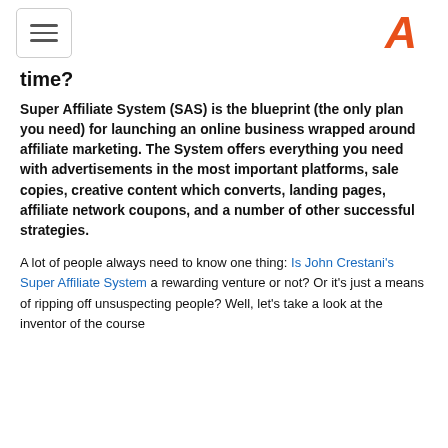[hamburger menu] [A logo]
time?
Super Affiliate System (SAS) is the blueprint (the only plan you need) for launching an online business wrapped around affiliate marketing. The System offers everything you need with advertisements in the most important platforms, sale copies, creative content which converts, landing pages, affiliate network coupons, and a number of other successful strategies.
A lot of people always need to know one thing: Is John Crestani's Super Affiliate System a rewarding venture or not? Or it's just a means of ripping off unsuspecting people? Well, let's take a look at the inventor of the course